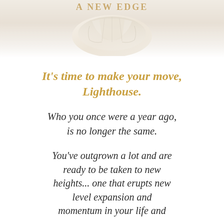[Figure (photo): Top portion of page showing a fabric/clothing item in cream/white tones with the text 'A NEW EDGE' overlaid in gold bold letters at the top]
It’s time to make your move, Lighthouse.
Who you once were a year ago, is no longer the same.
You’ve outgrown a lot and are ready to be taken to new heights... one that erupts new level expansion and momentum in your life and